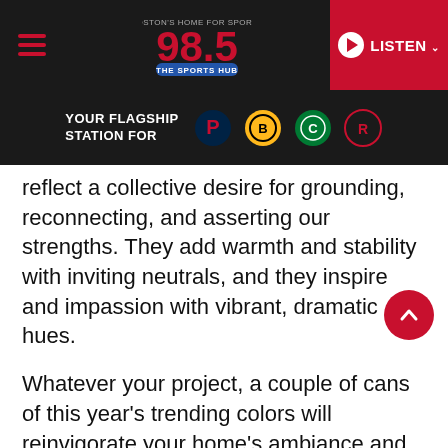[Figure (screenshot): 98.5 The Sports Hub radio station website header with hamburger menu, station logo, and red LISTEN button]
[Figure (logo): YOUR FLAGSHIP STATION FOR banner with New England Patriots, Boston Bruins, Boston Celtics, and Revolution team logos]
reflect a collective desire for grounding, reconnecting, and asserting our strengths. They add warmth and stability with inviting neutrals, and they inspire and impassion with vibrant, dramatic hues.
Whatever your project, a couple of cans of this year's trending colors will reinvigorate your home's ambiance and give you the boost you want when walking into your favorite rooms!